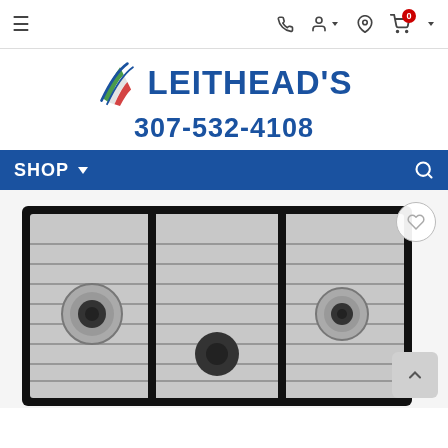[Figure (screenshot): Top navigation bar with hamburger menu icon on the left, and phone, user, location, and cart (badge: 0) icons on the right]
[Figure (logo): Leithead's logo with Italian-flag colored wave stripes and bold blue text 'LEITHEAD'S', phone number 307-532-4108 below]
[Figure (screenshot): Blue navigation bar with 'SHOP' dropdown label on the left and a search icon on the right]
[Figure (photo): Product photo of a stainless steel gas cooktop with black cast iron grates showing three burners, partially visible, with a heart/wishlist button in upper right and a scroll-up arrow button in lower right]